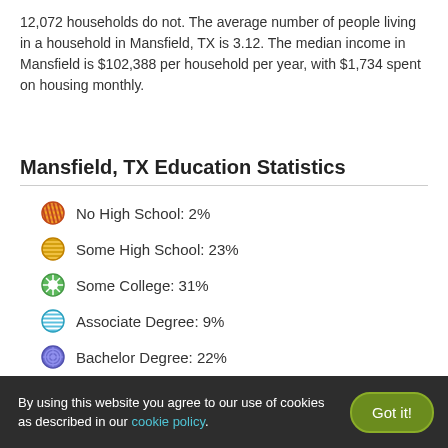12,072 households do not. The average number of people living in a household in Mansfield, TX is 3.12. The median income in Mansfield is $102,388 per household per year, with $1,734 spent on housing monthly.
Mansfield, TX Education Statistics
No High School: 2%
Some High School: 23%
Some College: 31%
Associate Degree: 9%
Bachelor Degree: 22%
By using this website you agree to our use of cookies as described in our cookie policy.